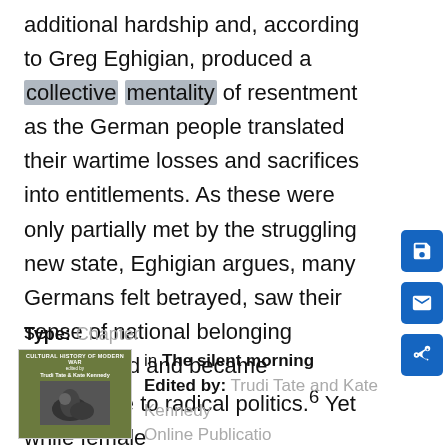additional hardship and, according to Greg Eghigian, produced a collective mentality of resentment as the German people translated their wartime losses and sacrifices into entitlements. As these were only partially met by the struggling new state, Eghigian argues, many Germans felt betrayed, saw their sense of national belonging undermined and became susceptible to radical politics.6 Yet while female
Type: Chapter
in The silent morning
Edited by: Trudi Tate and Kate Kennedy
Online Publication...